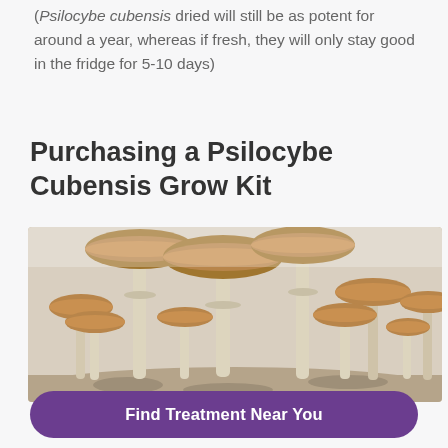(Psilocybe cubensis dried will still be as potent for around a year, whereas if fresh, they will only stay good in the fridge for 5-10 days)
Purchasing a Psilocybe Cubensis Grow Kit
[Figure (photo): A cluster of Psilocybe cubensis mushrooms growing from a substrate, showing tan/brown caps on long pale stems against a white background.]
Find Treatment Near You